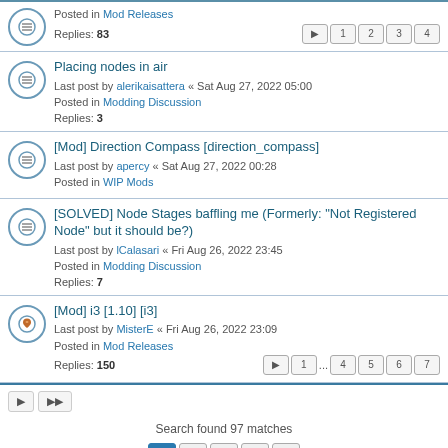Posted in Mod Releases
Replies: 83
Pages: 1 2 3 4
Placing nodes in air
Last post by alerikaisattera « Sat Aug 27, 2022 05:00
Posted in Modding Discussion
Replies: 3
[Mod] Direction Compass [direction_compass]
Last post by apercy « Sat Aug 27, 2022 00:28
Posted in WIP Mods
[SOLVED] Node Stages baffling me (Formerly: "Not Registered Node" but it should be?)
Last post by lCalasari « Fri Aug 26, 2022 23:45
Posted in Modding Discussion
Replies: 7
[Mod] i3 [1.10] [i3]
Last post by MisterE « Fri Aug 26, 2022 23:09
Posted in Mod Releases
Replies: 150
Pages: 1 ... 4 5 6 7
Search found 97 matches
Page 1 2 3 4 Next